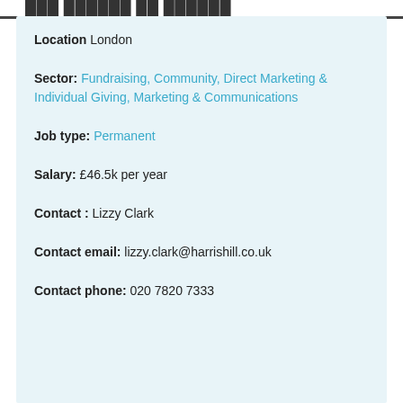Location  London
Sector:  Fundraising, Community, Direct Marketing & Individual Giving, Marketing & Communications
Job type:  Permanent
Salary:  £46.5k per year
Contact :  Lizzy Clark
Contact email:  lizzy.clark@harrishill.co.uk
Contact phone:  020 7820 7333